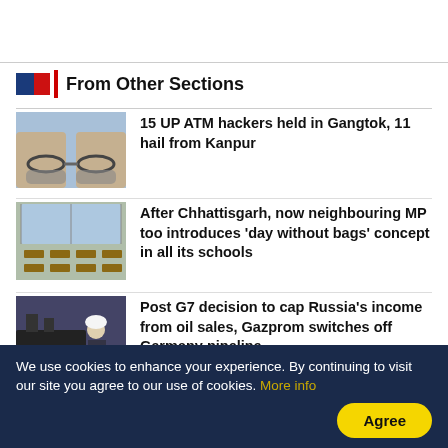From Other Sections
[Figure (photo): Hands in handcuffs with chains]
15 UP ATM hackers held in Gangtok, 11 hail from Kanpur
[Figure (photo): Empty classroom with rows of desks]
After Chhattisgarh, now neighbouring MP too introduces 'day without bags' concept in all its schools
[Figure (photo): Worker in hard hat near industrial equipment]
Post G7 decision to cap Russia's income from oil sales, Gazprom switches off Germany pipeline
[Figure (photo): Two political figures partially visible]
Who will be the next UK PM? Voting closes in race between Rishi S...
We use cookies to enhance your experience. By continuing to visit our site you agree to our use of cookies. More info